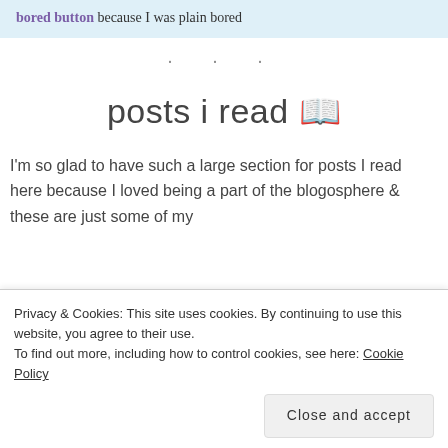bored button because I was plain bored
· · ·
posts i read 📖
I'm so glad to have such a large section for posts I read here because I loved being a part of the blogosphere & these are just some of my
Privacy & Cookies: This site uses cookies. By continuing to use this website, you agree to their use. To find out more, including how to control cookies, see here: Cookie Policy
Close and accept